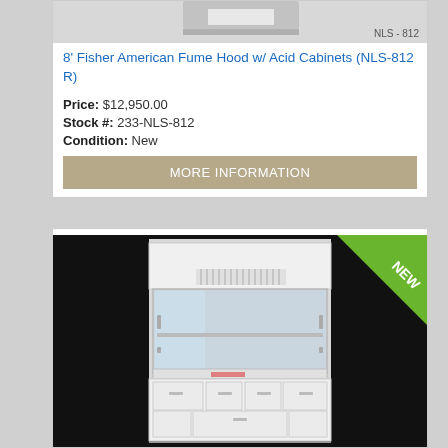[Figure (photo): Top portion of a fume hood, grey equipment, with NLS-812 label]
8' Fisher American Fume Hood w/ Acid Cabinets (NLS-812 R)
Price: $12,950.00
Stock #: 233-NLS-812
Condition: New
MORE INFORMATION
[Figure (photo): 8 foot Fisher American fume hood with acid cabinets, white, shown with glass sash open and lower cabinets visible. NEW ribbon badge in upper right corner.]